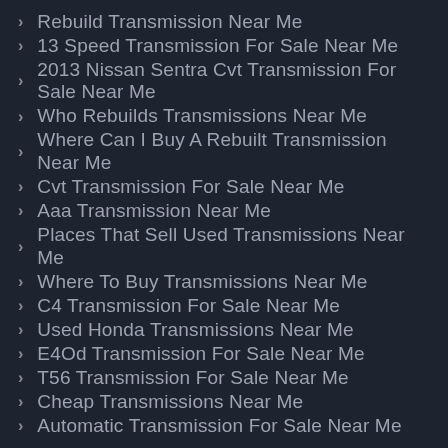Rebuild Transmission Near Me
13 Speed Transmission For Sale Near Me
2013 Nissan Sentra Cvt Transmission For Sale Near Me
Who Rebuilds Transmissions Near Me
Where Can I Buy A Rebuilt Transmission Near Me
Cvt Transmission For Sale Near Me
Aaa Transmission Near Me
Places That Sell Used Transmissions Near Me
Where To Buy Transmissions Near Me
C4 Transmission For Sale Near Me
Used Honda Transmissions Near Me
E4Od Transmission For Sale Near Me
T56 Transmission For Sale Near Me
Cheap Transmissions Near Me
Automatic Transmission For Sale Near Me